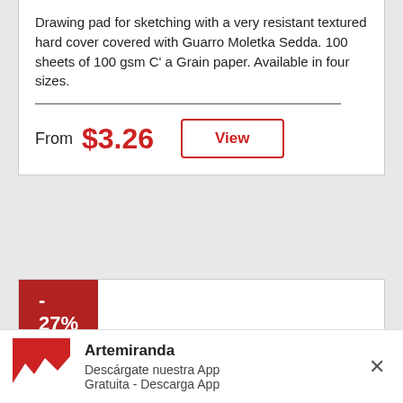Drawing pad for sketching with a very resistant textured hard cover covered with Guarro Moletka Sedda. 100 sheets of 100 gsm C' a Grain paper. Available in four sizes.
From $3.26
View
- 27%
[Figure (logo): Artemiranda red logo with white mountain/wave shape]
Artemiranda
Descárgate nuestra App
Gratuita - Descarga App